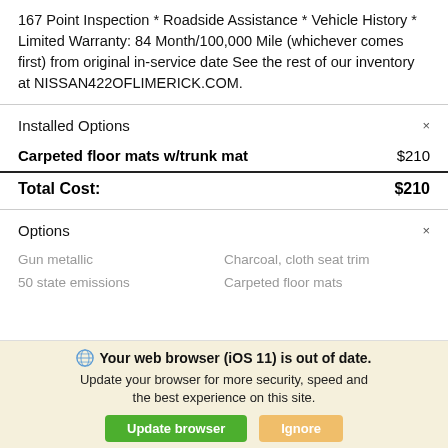167 Point Inspection * Roadside Assistance * Vehicle History * Limited Warranty: 84 Month/100,000 Mile (whichever comes first) from original in-service date See the rest of our inventory at NISSAN422OFLIMERICK.COM.
Installed Options
| Item | Price |
| --- | --- |
| Carpeted floor mats w/trunk mat | $210 |
| Total Cost: | $210 |
Options
Gun metallic
Charcoal, cloth seat trim
50 state emissions
Carpeted floor mats
Your web browser (iOS 11) is out of date. Update your browser for more security, speed and the best experience on this site.